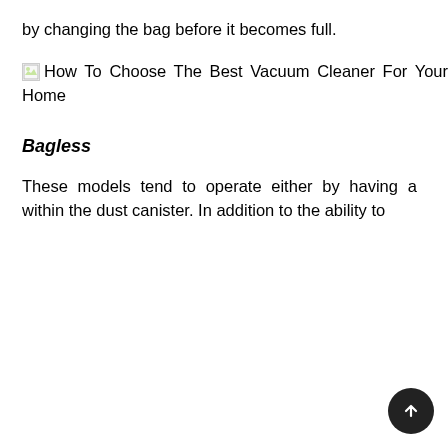by changing the bag before it becomes full.
[Figure (illustration): Broken image placeholder with alt text: How To Choose The Best Vacuum Cleaner For Your Home]
Bagless
These models tend to operate either by having a within the dust canister. In addition to the ability to